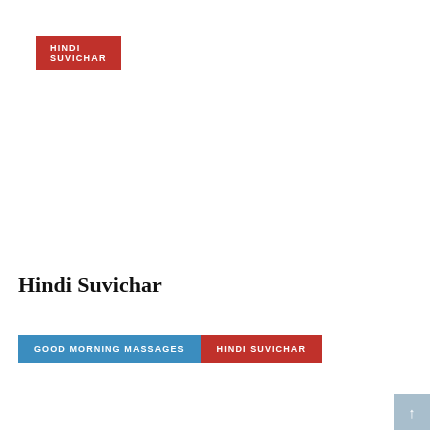HINDI SUVICHAR
Hindi Suvichar
GOOD MORNING MASSAGES
HINDI SUVICHAR